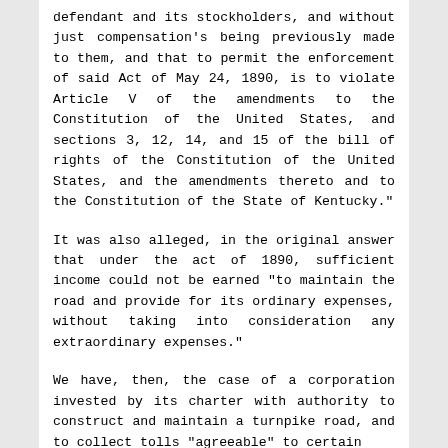defendant and its stockholders, and without just compensation's being previously made to them, and that to permit the enforcement of said Act of May 24, 1890, is to violate Article V of the amendments to the Constitution of the United States, and sections 3, 12, 14, and 15 of the bill of rights of the Constitution of the United States, and the amendments thereto and to the Constitution of the State of Kentucky."
It was also alleged, in the original answer that under the act of 1890, sufficient income could not be earned "to maintain the road and provide for its ordinary expenses, without taking into consideration any extraordinary expenses."
We have, then, the case of a corporation invested by its charter with authority to construct and maintain a turnpike road, and to collect tolls "agreeable" to certain